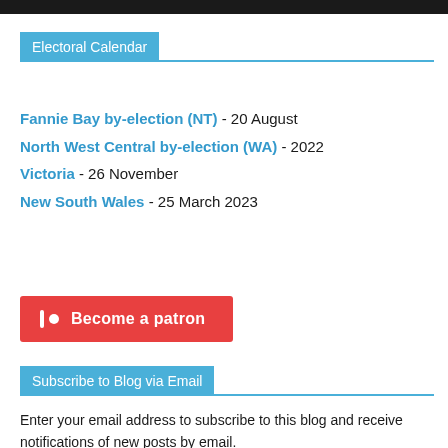Electoral Calendar
Fannie Bay by-election (NT) - 20 August
North West Central by-election (WA) - 2022
Victoria - 26 November
New South Wales - 25 March 2023
[Figure (other): Become a patron button (Patreon-style red button with bar and dot icon)]
Subscribe to Blog via Email
Enter your email address to subscribe to this blog and receive notifications of new posts by email.